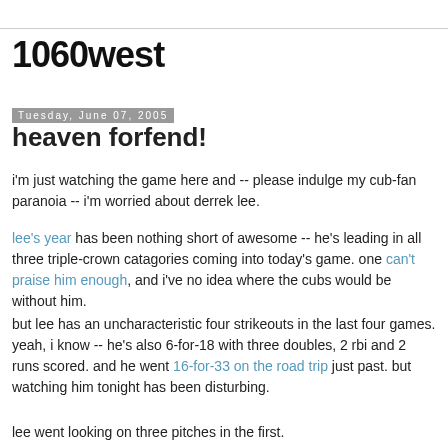1060west
Tuesday, June 07, 2005
heaven forfend!
i'm just watching the game here and -- please indulge my cub-fan paranoia -- i'm worried about derrek lee.
lee's year has been nothing short of awesome -- he's leading in all three triple-crown catagories coming into today's game. one can't praise him enough, and i've no idea where the cubs would be without him.
but lee has an uncharacteristic four strikeouts in the last four games. yeah, i know -- he's also 6-for-18 with three doubles, 2 rbi and 2 runs scored. and he went 16-for-33 on the road trip just past. but watching him tonight has been disturbing.
lee went looking on three pitches in the first.